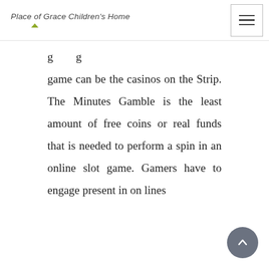Place of Grace Children's Home
game can be the casinos on the Strip. The Minutes Gamble is the least amount of free coins or real funds that is needed to perform a spin in an online slot game. Gamers have to engage present in on lines